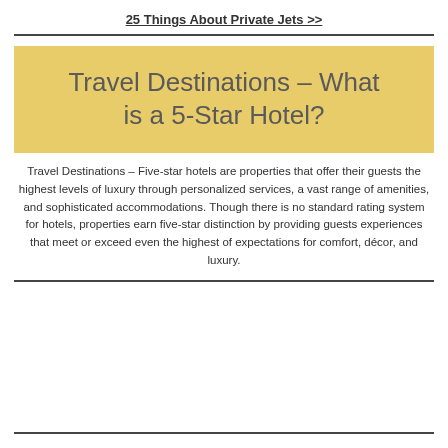25 Things About Private Jets >>
Travel Destinations – What is a 5-Star Hotel?
Travel Destinations – Five-star hotels are properties that offer their guests the highest levels of luxury through personalized services, a vast range of amenities, and sophisticated accommodations. Though there is no standard rating system for hotels, properties earn five-star distinction by providing guests experiences that meet or exceed even the highest of expectations for comfort, décor, and luxury.